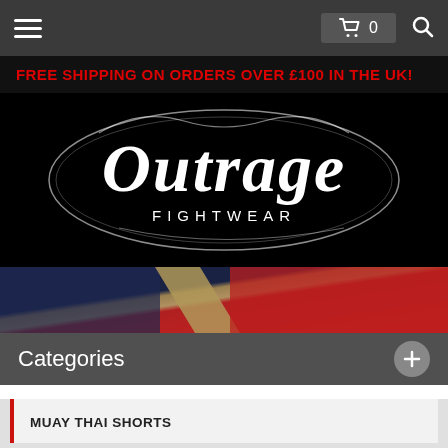[Figure (screenshot): Navigation bar with hamburger menu icon on left, shopping cart with count '0' in center-right, and search icon on far right, all on dark grey background]
FREE SHIPPING ON ORDERS OVER £100 IN THE UK!
[Figure (logo): Outrage Fightwear logo in white old-English/blackletter font with oval flourish, on black background]
[Figure (photo): Close-up of a flag or textile with diagonal sections of dark navy, gold/tan, and red fabric]
Categories
MUAY THAI SHORTS